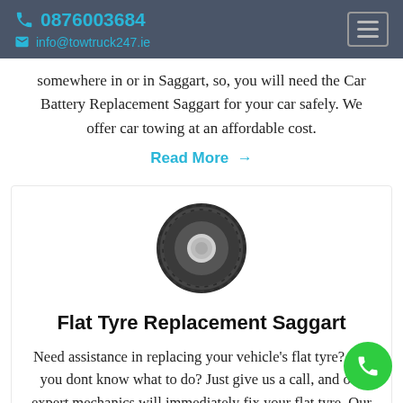0876003684 | info@towtruck247.ie
somewhere in or in Saggart, so, you will need the Car Battery Replacement Saggart for your car safely. We offer car towing at an affordable cost.
Read More →
[Figure (illustration): Illustration of a dark grey car tyre/wheel]
Flat Tyre Replacement Saggart
Need assistance in replacing your vehicle's flat tyre? But you dont know what to do? Just give us a call, and our expert mechanics will immediately fix your flat tyre. Our company,